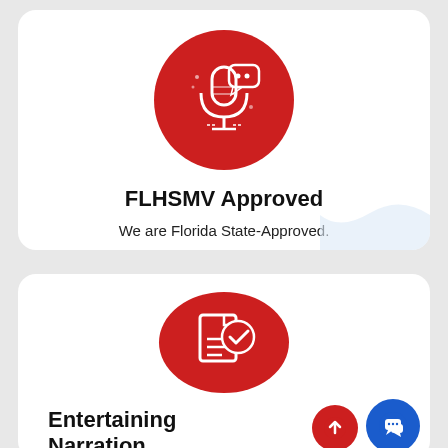[Figure (illustration): Red circle with white microphone and speech bubble icon]
FLHSMV Approved
We are Florida State-Approved.
[Figure (illustration): Red circle with white document and checkmark icon]
Entertaining Narration